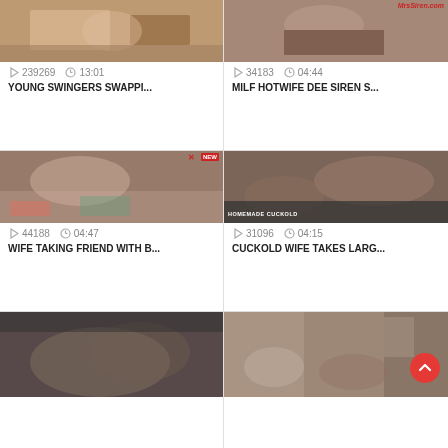[Figure (screenshot): Video thumbnail grid - top left video thumbnail]
239269  13:01
YOUNG SWINGERS SWAPPI...
[Figure (screenshot): Video thumbnail - top right with MrsSiren.com watermark]
34183  04:44
MILF HOTWIFE DEE SIREN S...
[Figure (screenshot): Video thumbnail - middle left bedroom scene]
44188  04:47
WIFE TAKING FRIEND WITH B...
[Figure (screenshot): Video thumbnail - middle right with HOMEMADE CUCKOLD label]
31096  04:15
CUCKOLD WIFE TAKES LARG...
[Figure (screenshot): Video thumbnail - bottom left couple kissing]
[Figure (screenshot): Video thumbnail - bottom right group scene with red scroll button]